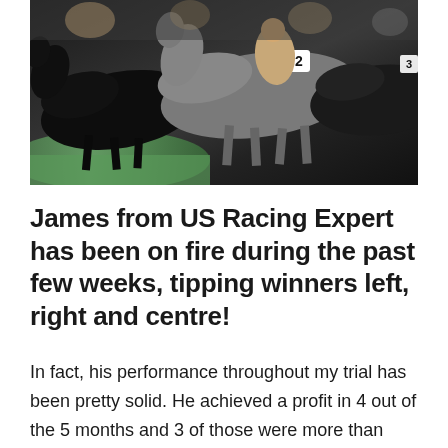[Figure (photo): Close-up photograph of toy/model horses racing, showing grey and dark horse figurines with jockeys in a tight group, green turf visible below]
James from US Racing Expert has been on fire during the past few weeks, tipping winners left, right and centre!
In fact, his performance throughout my trial has been pretty solid. He achieved a profit in 4 out of the 5 months and 3 of those were more than £500 profit to £10 stakes